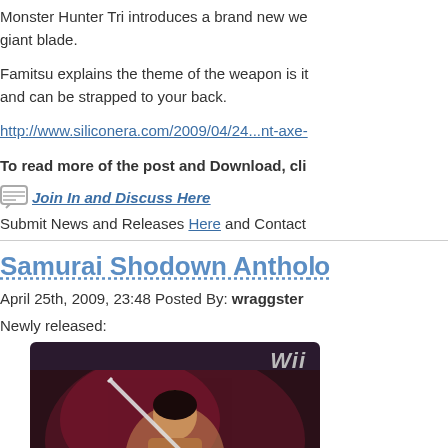Monster Hunter Tri introduces a brand new we giant blade.
Famitsu explains the theme of the weapon is it and can be strapped to your back.
http://www.siliconera.com/2009/04/24...nt-axe-
To read more of the post and Download, cli
Join In and Discuss Here
Submit News and Releases Here and Contact
Samurai Shodown Antholo
April 25th, 2009, 23:48 Posted By: wraggster
Newly released:
[Figure (photo): Samurai Shodown Anthology Wii game box art showing a samurai warrior with a sword against a dark red background, with Wii branding at top right]